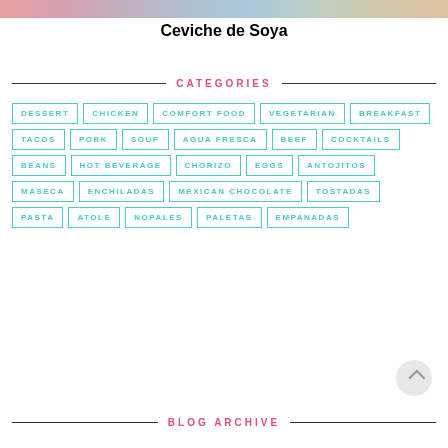[Figure (photo): Colorful food photo strip at top of page]
Ceviche de Soya
CATEGORIES
DESSERT
CHICKEN
COMFORT FOOD
VEGETARIAN
BREAKFAST
TACOS
PORK
SOUP
AGUA FRESCA
BEEF
COCKTAILS
BEANS
HOT BEVERAGE
CHORIZO
EGGS
ANTOJITOS
MASECA
ENCHILADAS
MEXICAN CHOCOLATE
TOSTADAS
PASTA
ATOLE
NOPALES
PALETAS
EMPANADAS
BLOG ARCHIVE